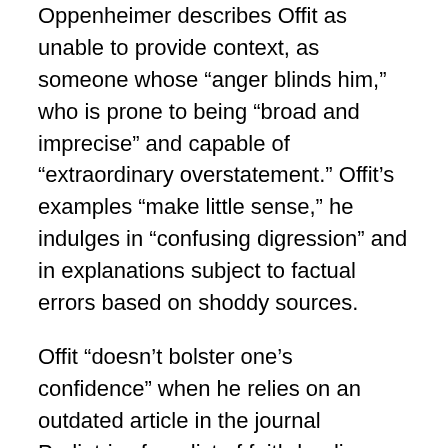Oppenheimer describes Offit as unable to provide context, as someone whose “anger blinds him,” who is prone to being “broad and imprecise” and capable of “extraordinary overstatement.” Offit’s examples “make little sense,” he indulges in “confusing digression” and in explanations subject to factual errors based on shoddy sources.
Offit “doesn’t bolster one’s confidence” when he relies on an outdated article in the journal Pediatrics for a list of faith-healing churches, citing information both trivial and defunct, Oppenheimer writes, also making it clear that he considers Offit mean-spirited “to pathologize those who think they know God’s will” and out of his depth in trying to understand the role of religion in modern medicine. “It’s a crude, oversimplified argument,” Oppenheimer writes of Offit.
More cutting for Oppenheimer is its...